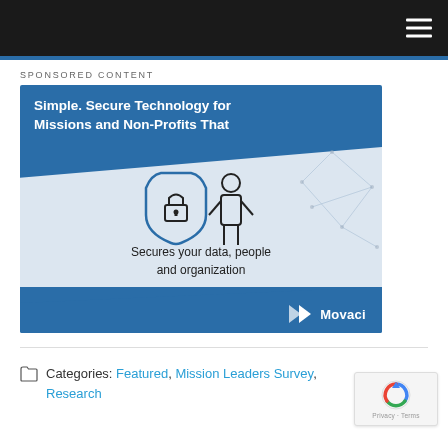Navigation bar with hamburger menu
SPONSORED CONTENT
[Figure (illustration): Movaci sponsored ad banner. Blue background with text 'Simple. Secure Technology for Missions and Non-Profits That' at top. Center shows icons of a shield/lock and a person figure. Text below reads 'Secures your data, people and organization'. Movaci logo at bottom right.]
Categories: Featured, Mission Leaders Survey, Research